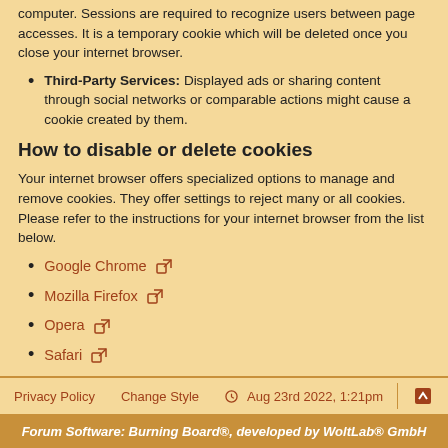computer. Sessions are required to recognize users between page accesses. It is a temporary cookie which will be deleted once you close your internet browser.
Third-Party Services: Displayed ads or sharing content through social networks or comparable actions might cause a cookie created by them.
How to disable or delete cookies
Your internet browser offers specialized options to manage and remove cookies. They offer settings to reject many or all cookies. Please refer to the instructions for your internet browser from the list below.
Google Chrome ↗
Mozilla Firefox ↗
Opera ↗
Safari ↗
Windows Internet Explorer ↗
Privacy Policy   Change Style   Aug 23rd 2022, 1:21pm
Forum Software: Burning Board®, developed by WoltLab® GmbH